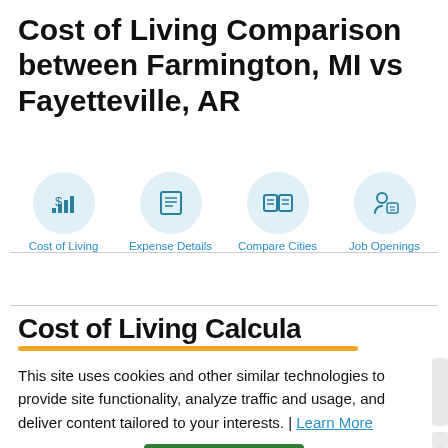Cost of Living Comparison between Farmington, MI vs Fayetteville, AR
[Figure (infographic): Four navigation icon buttons in light blue circles: Cost of Living (dollar sign with bar chart icon), Expense Details (document/form icon), Compare Cities (open book icon), Job Openings (person with document icon)]
Cost of Living Calculator (partially visible, cut off)
This site uses cookies and other similar technologies to provide site functionality, analyze traffic and usage, and deliver content tailored to your interests. | Learn More
I Accept